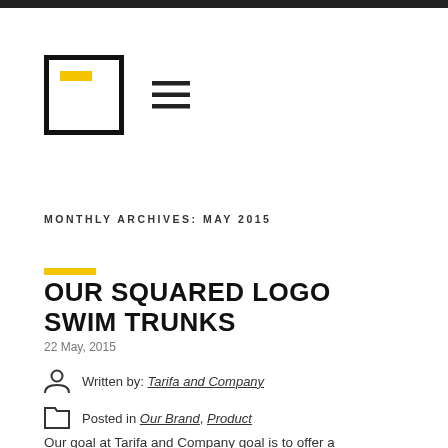[Figure (logo): Square logo with thick black border and yellow horizontal bar inside, followed by a hamburger menu icon (three horizontal lines)]
MONTHLY ARCHIVES: MAY 2015
OUR SQUARED LOGO SWIM TRUNKS
22 May, 2015
Written by: Tarifa and Company
Posted in Our Brand, Product
Our goal at Tarifa and Company goal is to offer a